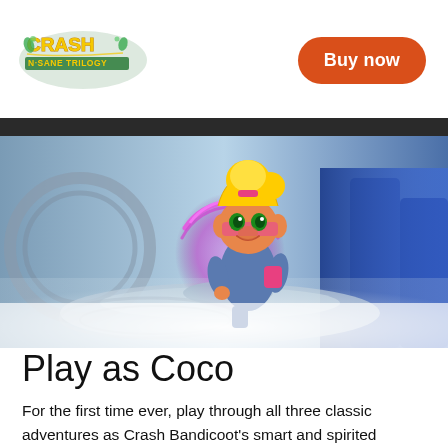Crash Bandicoot N. Sane Trilogy
[Figure (logo): Crash Bandicoot N. Sane Trilogy logo in colorful cartoon lettering with yellow and green styling]
Buy now
[Figure (photo): Screenshot from Crash Bandicoot N. Sane Trilogy showing Coco Bandicoot character standing in a misty level scene with a circular platform and glowing pink portal behind her, blue glowing effects on the right]
Play as Coco
For the first time ever, play through all three classic adventures as Crash Bandicoot's smart and spirited younger sister, Coco Bandicoot. Updated with a fresh new look and her own set of 'N-Sane Attacks', she's not just the younger sibling – she's a force to be reckoned with!